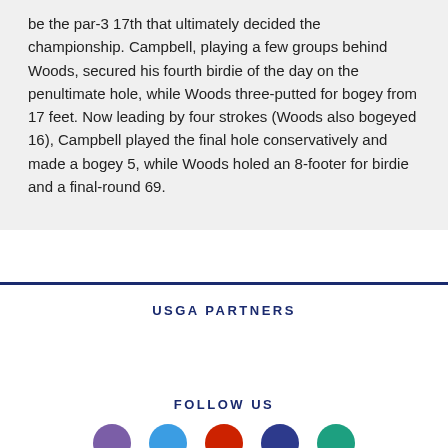be the par-3 17th that ultimately decided the championship. Campbell, playing a few groups behind Woods, secured his fourth birdie of the day on the penultimate hole, while Woods three-putted for bogey from 17 feet. Now leading by four strokes (Woods also bogeyed 16), Campbell played the final hole conservatively and made a bogey 5, while Woods holed an 8-footer for birdie and a final-round 69.
USGA PARTNERS
FOLLOW US
[Figure (illustration): Row of five social media icon circles (purple, blue, red, dark blue/purple, teal) partially visible at bottom of page]